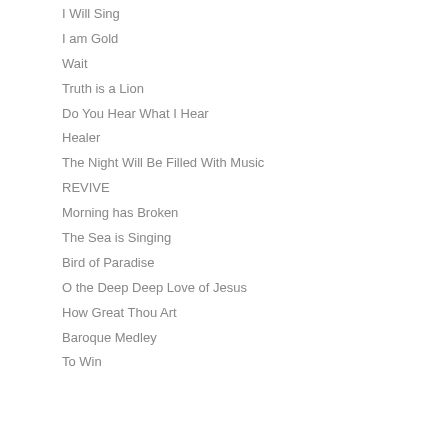I Will Sing
I am Gold
Wait
Truth is a Lion
Do You Hear What I Hear
Healer
The Night Will Be Filled With Music
REVIVE
Morning has Broken
The Sea is Singing
Bird of Paradise
O the Deep Deep Love of Jesus
How Great Thou Art
Baroque Medley
To Win